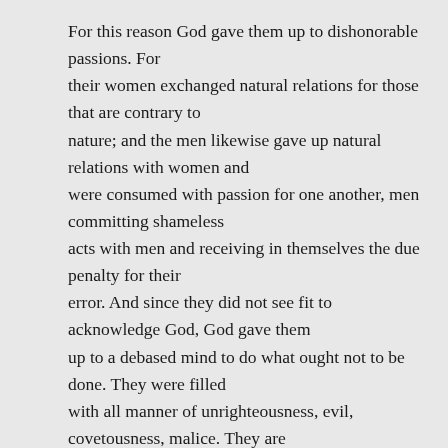For this reason God gave them up to dishonorable passions. For their women exchanged natural relations for those that are contrary to nature; and the men likewise gave up natural relations with women and were consumed with passion for one another, men committing shameless acts with men and receiving in themselves the due penalty for their error. And since they did not see fit to acknowledge God, God gave them up to a debased mind to do what ought not to be done. They were filled with all manner of unrighteousness, evil, covetousness, malice. They are full of envy, murder, strife, deceit, maliciousness. They are